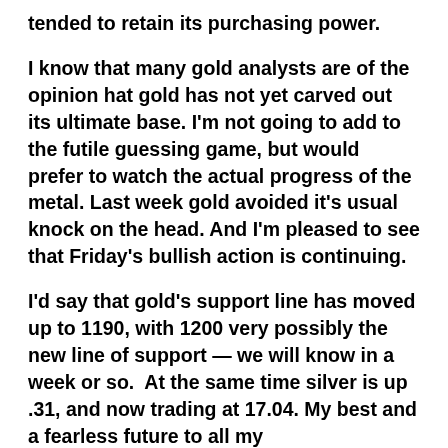tended to retain its purchasing power.
I know that many gold analysts are of the opinion hat gold has not yet carved out its ultimate base. I'm not going to add to the futile guessing game, but would prefer to watch the actual progress of the metal. Last week gold avoided it's usual knock on the head. And I'm pleased to see that Friday's bullish action is continuing.
I'd say that gold's support line has moved up to 1190, with 1200 very possibly the new line of support — we will know in a week or so.  At the same time silver is up .31, and now trading at 17.04. My best and a fearless future to all my